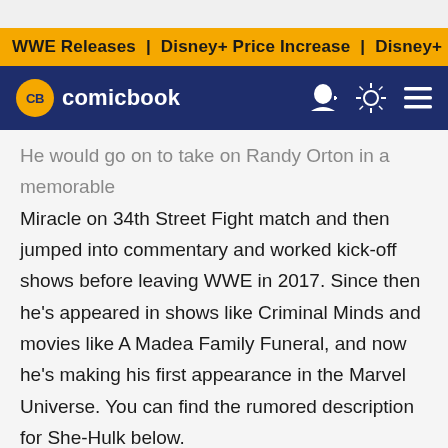WWE Releases | Disney+ Price Increase | Disney+ Price Incre
CB comicbook
He would go on to take on Randy Orton in a memorable Miracle on 34th Street Fight match and then jumped into commentary and worked kick-off shows before leaving WWE in 2017. Since then he's appeared in shows like Criminal Minds and movies like A Madea Family Funeral, and now he's making his first appearance in the Marvel Universe. You can find the rumored description for She-Hulk below.
"This new comedy series sees Bruce Banner help his cousin, Jennifer Walters, when she needs an emergency blood transfusion and guess what? She receives his powers